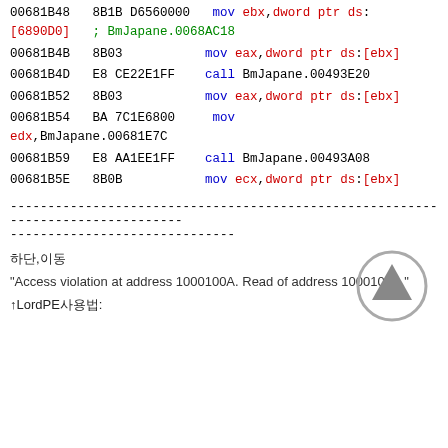00681B48   8B1B D6560000   mov ebx,dword ptr ds:[6890D0]   ; BmJapane.0068AC18
00681B4B   8B03           mov eax,dword ptr ds:[ebx]
00681B4D   E8 CE22E1FF    call BmJapane.00493E20
00681B52   8B03           mov eax,dword ptr ds:[ebx]
00681B54   BA 7C1E6800    mov edx,BmJapane.00681E7C
00681B59   E8 AA1EE1FF    call BmJapane.00493A08
00681B5E   8B0B           mov ecx,dword ptr ds:[ebx]
--------------------------------------------------------------------------------
------------------------------
하단,이동
"Access violation at address 1000100A. Read of address 1000100A."
↑LordPE사용법: